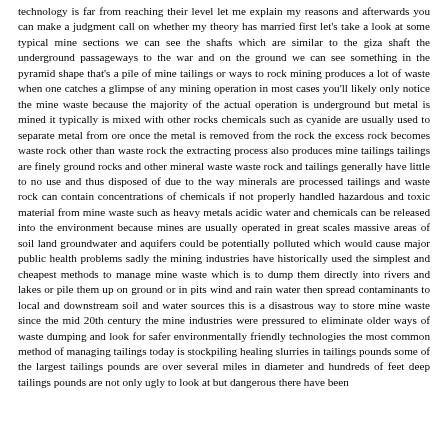technology is far from reaching their level let me explain my reasons and afterwards you can make a judgment call on whether my theory has married first let's take a look at some typical mine sections we can see the shafts which are similar to the giza shaft the underground passageways to the war and on the ground we can see something in the pyramid shape that's a pile of mine tailings or ways to rock mining produces a lot of waste when one catches a glimpse of any mining operation in most cases you'll likely only notice the mine waste because the majority of the actual operation is underground but metal is mined it typically is mixed with other rocks chemicals such as cyanide are usually used to separate metal from ore once the metal is removed from the rock the excess rock becomes waste rock other than waste rock the extracting process also produces mine tailings tailings are finely ground rocks and other mineral waste waste rock and tailings generally have little to no use and thus disposed of due to the way minerals are processed tailings and waste rock can contain concentrations of chemicals if not properly handled hazardous and toxic material from mine waste such as heavy metals acidic water and chemicals can be released into the environment because mines are usually operated in great scales massive areas of soil land groundwater and aquifers could be potentially polluted which would cause major public health problems sadly the mining industries have historically used the simplest and cheapest methods to manage mine waste which is to dump them directly into rivers and lakes or pile them up on ground or in pits wind and rain water then spread contaminants to local and downstream soil and water sources this is a disastrous way to store mine waste since the mid 20th century the mine industries were pressured to eliminate older ways of waste dumping and look for safer environmentally friendly technologies the most common method of managing tailings today is stockpiling healing slurries in tailings pounds some of the largest tailings pounds are over several miles in diameter and hundreds of feet deep tailings pounds are not only ugly to look at but dangerous there have been